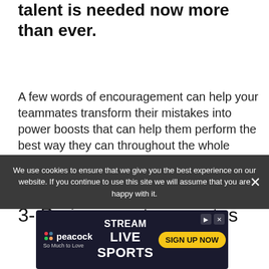talent is needed now more than ever.
A few words of encouragement can help your teammates transform their mistakes into power boosts that can help them perform the best way they can throughout the whole match.
3- Praise your teammates
We use cookies to ensure that we give you the best experience on our website. If you continue to use this site we will assume that you are happy with it.
[Figure (other): Peacock streaming service advertisement: STREAM LIVE SPORTS - SIGN UP NOW]